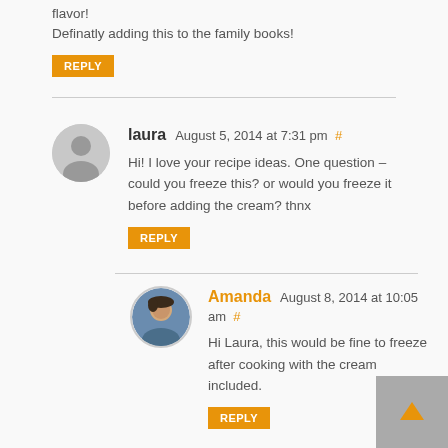flavor!
Definatly adding this to the family books!
REPLY
laura August 5, 2014 at 7:31 pm #
Hi! I love your recipe ideas. One question – could you freeze this? or would you freeze it before adding the cream? thnx
REPLY
Amanda August 8, 2014 at 10:05 am #
Hi Laura, this would be fine to freeze after cooking with the cream included.
REPLY